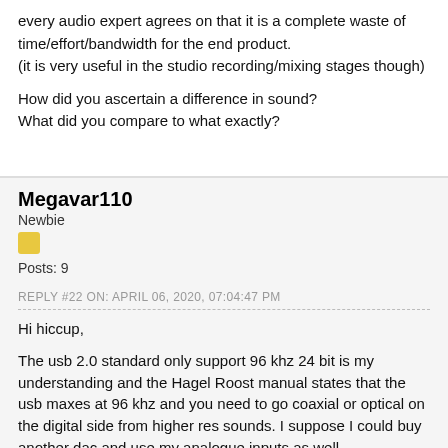every audio expert agrees on that it is a complete waste of time/effort/bandwidth for the end product.
(it is very useful in the studio recording/mixing stages though)
How did you ascertain a difference in sound?
What did you compare to what exactly?
Megavar110
Newbie
Posts: 9
REPLY #22 ON: APRIL 06, 2020, 07:04:47 PM
Hi hiccup,
The usb 2.0 standard only support 96 khz 24 bit is my understanding and the Hagel Roost manual states that the usb maxes at 96 khz and you need to go coaxial or optical on the digital side from higher res sounds. I suppose I could buy another dac and use my analogue inputs as well.
As for the hi-res argument, I need to qualify that I am  unable to do much testing yet with the 192 khz files so I assume your question pertains to the